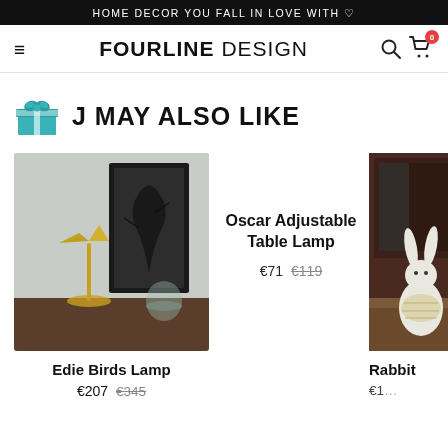HOME DECOR YOU FALL IN LOVE WITH ♡
[Figure (logo): Fourline Design logo with hamburger menu, search and cart icons]
J MAY ALSO LIKE
[Figure (photo): Edie Birds Lamp on a wooden table with framed art in background]
Oscar Adjustable Table Lamp
€71 €119
[Figure (photo): Rabbit lamp figure on a wooden surface near a dark cabinet]
Edie Birds Lamp
€207 €345
Rabbit